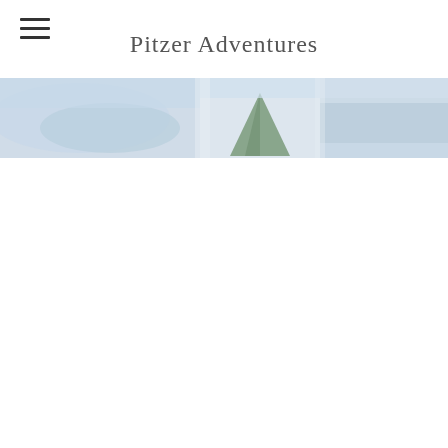Pitzer Adventures
[Figure (photo): Partial banner image showing a tent and misty/mountainous scenery, cropped at the top of the page]